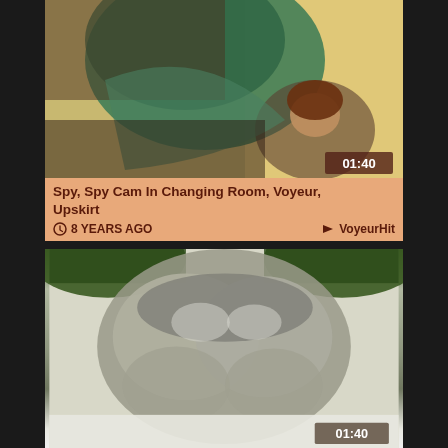[Figure (screenshot): Video thumbnail showing a changing room scene with a woman in a green dress, taken from a low angle. Duration stamp 01:40 in bottom right.]
Spy, Spy Cam In Changing Room, Voyeur, Upskirt
8 YEARS AGO   VoyeurHit
[Figure (screenshot): Video thumbnail showing an upskirt/voyeur scene with a person in silver/grey shorts from a low angle, outdoor setting with green foliage. Duration stamp 01:40 in bottom right.]
Voyeur
8 YEARS AGO   VoyeurHit